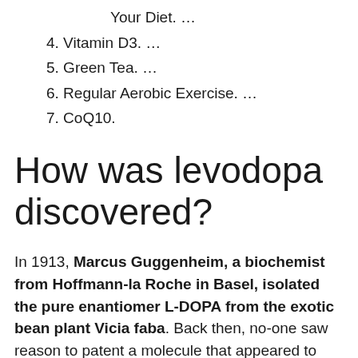Your Diet. …
4. Vitamin D3. …
5. Green Tea. …
6. Regular Aerobic Exercise. …
7. CoQ10.
How was levodopa discovered?
In 1913, Marcus Guggenheim, a biochemist from Hoffmann-la Roche in Basel, isolated the pure enantiomer L-DOPA from the exotic bean plant Vicia faba. Back then, no-one saw reason to patent a molecule that appeared to have no useful biological activity. Indeed, it was seen